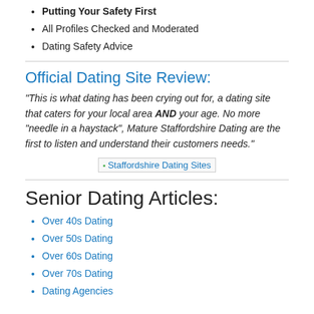Putting Your Safety First
All Profiles Checked and Moderated
Dating Safety Advice
Official Dating Site Review:
"This is what dating has been crying out for, a dating site that caters for your local area AND your age. No more "needle in a haystack", Mature Staffordshire Dating are the first to listen and understand their customers needs."
[Figure (other): Staffordshire Dating Sites image placeholder]
Senior Dating Articles:
Over 40s Dating
Over 50s Dating
Over 60s Dating
Over 70s Dating
Dating Agencies